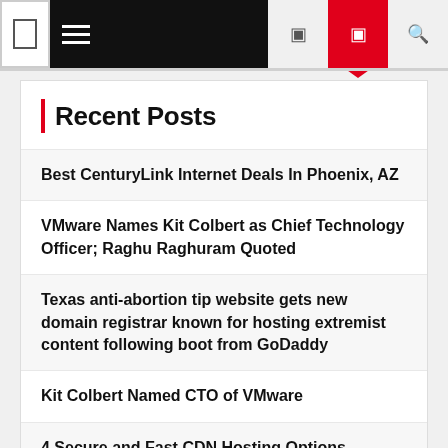Navigation bar with menu icon, hamburger menu, and action buttons
Recent Posts
Best CenturyLink Internet Deals In Phoenix, AZ
VMware Names Kit Colbert as Chief Technology Officer; Raghu Raghuram Quoted
Texas anti-abortion tip website gets new domain registrar known for hosting extremist content following boot from GoDaddy
Kit Colbert Named CTO of VMware
4 Secure and Fast CDN Hosting Options
Wayland Baptist University senior's work